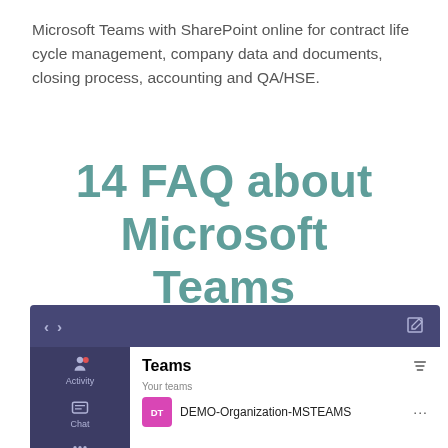Microsoft Teams with SharePoint online for contract life cycle management, company data and documents, closing process, accounting and QA/HSE.
14 FAQ about Microsoft Teams
[Figure (screenshot): Screenshot of Microsoft Teams application showing the Teams view with a left sidebar containing Activity and Chat icons, a main panel with 'Teams' header and filter icon, 'Your teams' section showing DEMO-Organization-MSTEAMS team entry with a purple DT avatar and ellipsis menu. Top navigation bar in dark purple with back/forward arrows and compose icon.]